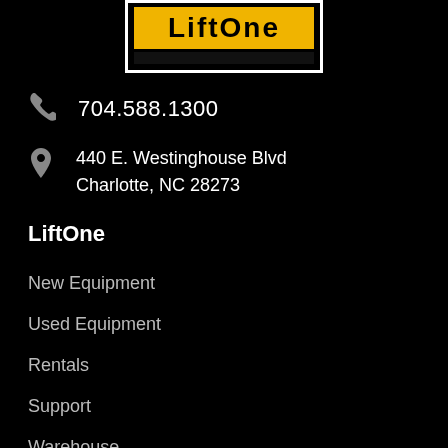[Figure (logo): LiftOne logo — yellow bar with bold text on black background with white border]
704.588.1300
440 E. Westinghouse Blvd
Charlotte, NC 28273
LiftOne
New Equipment
Used Equipment
Rentals
Support
Warehouse
Industry Solutions